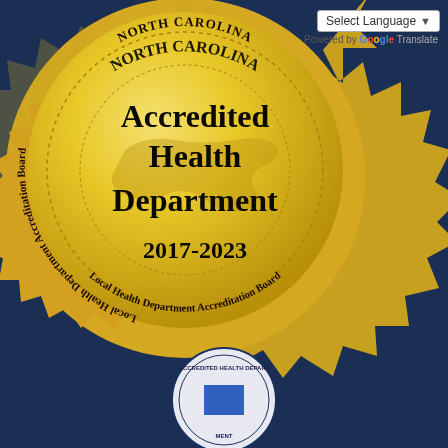[Figure (illustration): North Carolina Local Health Department Accreditation Board gold seal stamp with text 'Accredited Health Department 2017-2023' in the center, on a navy blue background. A smaller blue accreditation seal appears at the bottom.]
Select Language (dropdown) | Powered by Google Translate